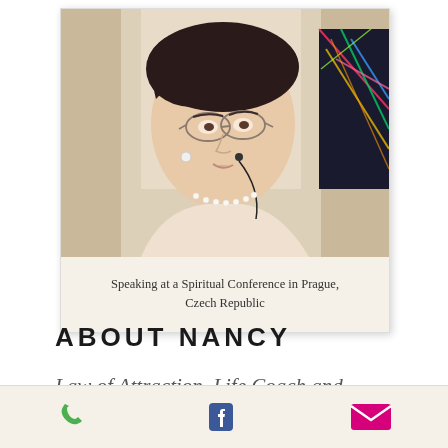[Figure (photo): Woman with dark hair and glasses speaking at a podium or event, wearing a pearl necklace and a light-colored top. Background shows curtains and colorful display.]
Speaking at a Spiritual Conference in Prague, Czech Republic
ABOUT NANCY
Law of Attraction, Life Coach and
[Figure (infographic): Bottom bar with three icons: green phone icon, blue Facebook icon, and pink/magenta envelope icon.]